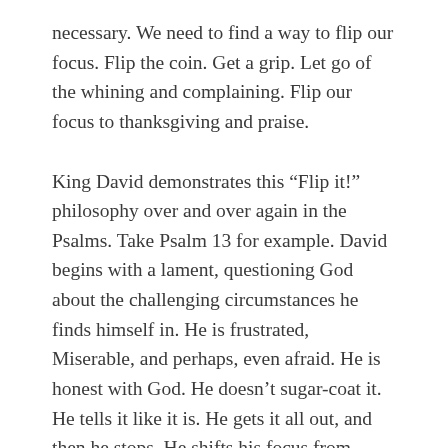necessary. We need to find a way to flip our focus. Flip the coin. Get a grip. Let go of the whining and complaining. Flip our focus to thanksgiving and praise.
King David demonstrates this “Flip it!” philosophy over and over again in the Psalms. Take Psalm 13 for example. David begins with a lament, questioning God about the challenging circumstances he finds himself in. He is frustrated, Miserable, and perhaps, even afraid. He is honest with God. He doesn’t sugar-coat it. He tells it like it is. He gets it all out, and then he stops. He shifts his focus from complaining to re-affirming God’s past faithfulness. He recalls how The Lord has delivered him in other trying circumstances. These recollections embolden his